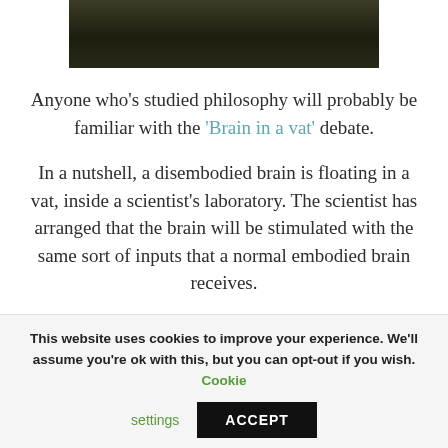[Figure (photo): Dark photograph at top of page, partially cropped, showing trees or outdoor scenery in dark tones]
Anyone who’s studied philosophy will probably be familiar with the ‘Brain in a vat’ debate.
In a nutshell, a disembodied brain is floating in a vat, inside a scientist’s laboratory. The scientist has arranged that the brain will be stimulated with the same sort of inputs that a normal embodied brain receives.
This website uses cookies to improve your experience. We’ll assume you’re ok with this, but you can opt-out if you wish. Cookie settings ACCEPT